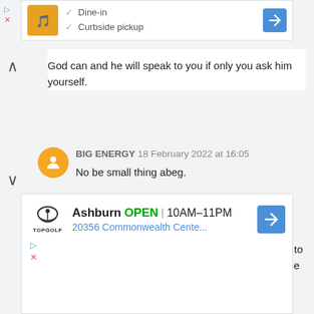[Figure (screenshot): Top advertisement banner showing a restaurant listing with Dine-in and Curbside pickup options, navigation arrow button]
God can and he will speak to you if only you ask him yourself.
BIG ENERGY 18 February 2022 at 16:05
No be small thing abeg.
Ms Saphire® 18 February 2022 at 17:09
The energy, data, time and grammar you used to typed this is worth far much more than the value of question to came to ask.
[Figure (screenshot): Bottom advertisement banner for Topgolf Ashburn showing OPEN status, hours 10AM-11PM, address 20356 Commonwealth Cente...]